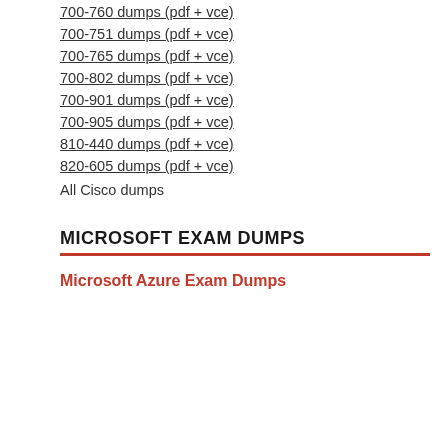700-760 dumps (pdf + vce)
700-751 dumps (pdf + vce)
700-765 dumps (pdf + vce)
700-802 dumps (pdf + vce)
700-901 dumps (pdf + vce)
700-905 dumps (pdf + vce)
810-440 dumps (pdf + vce)
820-605 dumps (pdf + vce)
All Cisco dumps
MICROSOFT EXAM DUMPS
Microsoft Azure Exam Dumps